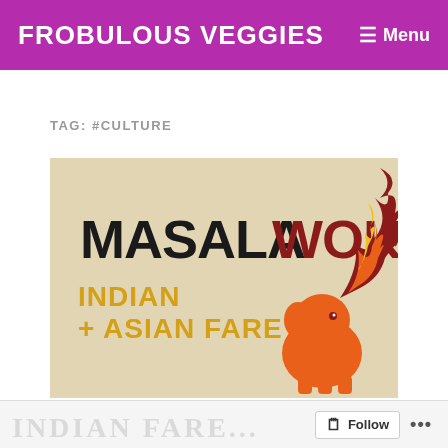FROBULOUS VEGGIES  ≡ Menu
TAG: #CULTURE
[Figure (logo): Masala Wok logo featuring bold black hand-lettered text 'MASALAWOK' with 'WOK' in dark red, yellow subtitle text 'INDIAN + ASIAN FARE', and an orange cartoon elephant with a red flame on a beige textured background]
Follow ...